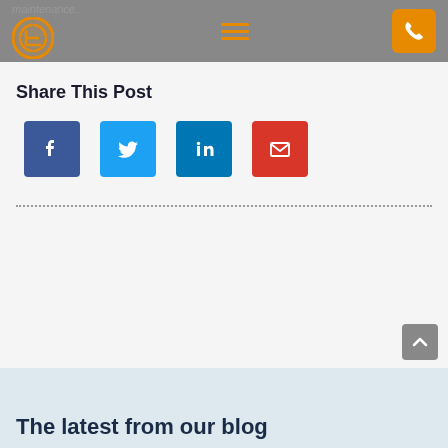maintenance. [logo] [hamburger menu] [phone button]
Share This Post
[Figure (infographic): Four social share buttons: Facebook (dark blue), Twitter (light blue), LinkedIn (medium blue), Email (red), each showing their respective icons in white on colored square backgrounds.]
The latest from our blog